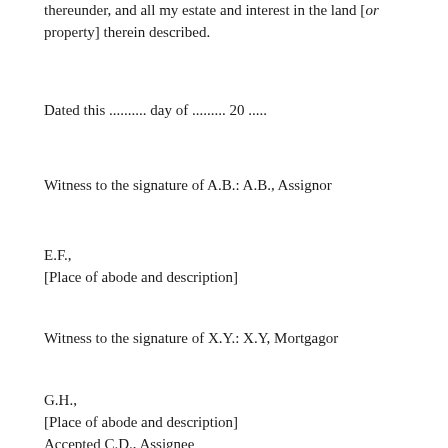thereunder, and all my estate and interest in the land [or property] therein described.
Dated this .......... day of ......... 20 .....
Witness to the signature of A.B.: A.B., Assignor
E.F.,
[Place of abode and description]
Witness to the signature of X.Y.: X.Y, Mortgagor
G.H.,
[Place of abode and description]
Accepted C.D., Assignee
Witness to the signature of C.D.: